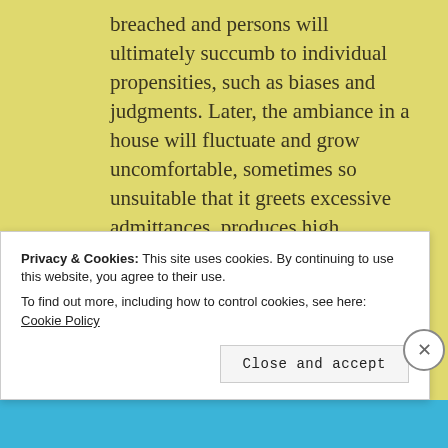breached and persons will ultimately succumb to individual propensities, such as biases and judgments. Later, the ambiance in a house will fluctuate and grow uncomfortable, sometimes so unsuitable that it greets excessive admittances, produces high attrition, and invites intolerable demeanor and ultimate distrust.
Privacy & Cookies: This site uses cookies. By continuing to use this website, you agree to their use.
To find out more, including how to control cookies, see here: Cookie Policy
Close and accept